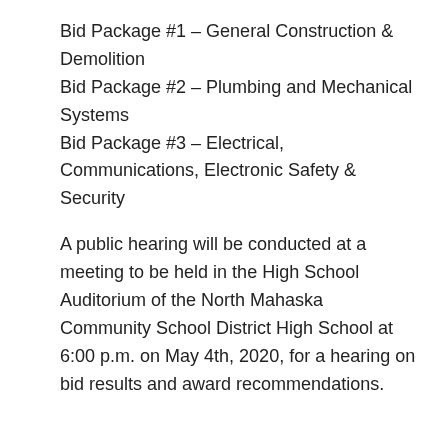Bid Package #1 – General Construction & Demolition
Bid Package #2 – Plumbing and Mechanical Systems
Bid Package #3 – Electrical, Communications, Electronic Safety & Security
A public hearing will be conducted at a meeting to be held in the High School Auditorium of the North Mahaska Community School District High School at 6:00 p.m. on May 4th, 2020, for a hearing on bid results and award recommendations.